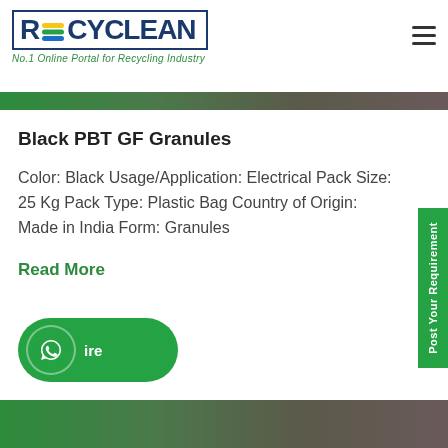[Figure (logo): RECYCLEAN logo with blue border box, stylized recycling arrows icon between R and CYCLEAN, tagline 'No.1 Online Portal for Recycling Industry']
Black PBT GF Granules
Color: Black Usage/Application: Electrical Pack Size: 25 Kg Pack Type: Plastic Bag Country of Origin: Made in India Form: Granules
Read More
[Figure (other): WhatsApp enquiry button - green pill shape with WhatsApp icon and text 'ire' (Enquire)]
Post Your Requirement